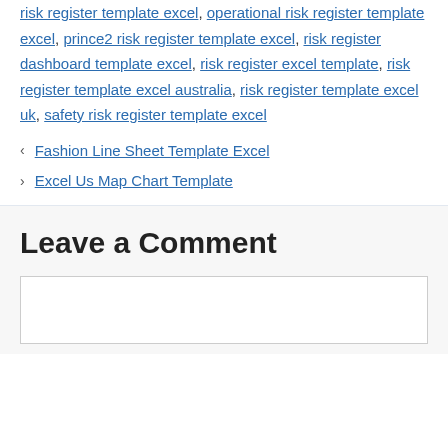risk register template excel, prince2 risk register template excel, risk register dashboard template excel, risk register excel template, risk register template excel australia, risk register template excel uk, safety risk register template excel
< Fashion Line Sheet Template Excel
> Excel Us Map Chart Template
Leave a Comment